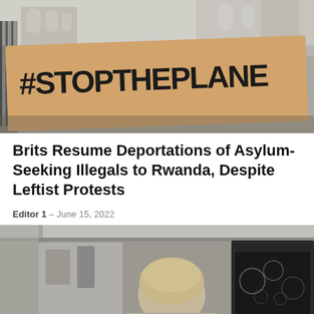[Figure (photo): Protest sign reading #STOPTHEPLANE held up in front of a Gothic-style building (Royal Courts of Justice), photographed from below against a grey sky.]
Brits Resume Deportations of Asylum-Seeking Illegals to Rwanda, Despite Leftist Protests
Editor 1  –  June 15, 2022
[Figure (photo): A person with short hair viewed from behind, seated in front of a computer monitor displaying microscopy images of what appear to be virus particles.]